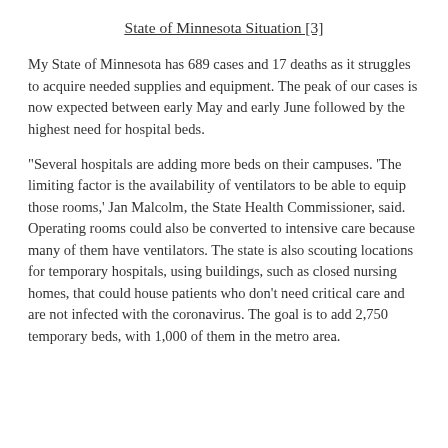State of Minnesota Situation [3]
My State of Minnesota has 689 cases and 17 deaths as it struggles to acquire needed supplies and equipment. The peak of our cases is now expected between early May and early June followed by the highest need for hospital beds.
“Several hospitals are adding more beds on their campuses. ‘The limiting factor is the availability of ventilators to be able to equip those rooms,’ Jan Malcolm, the State Health Commissioner, said. Operating rooms could also be converted to intensive care because many of them have ventilators. The state is also scouting locations for temporary hospitals, using buildings, such as closed nursing homes, that could house patients who don’t need critical care and are not infected with the coronavirus. The goal is to add 2,750 temporary beds, with 1,000 of them in the metro area.